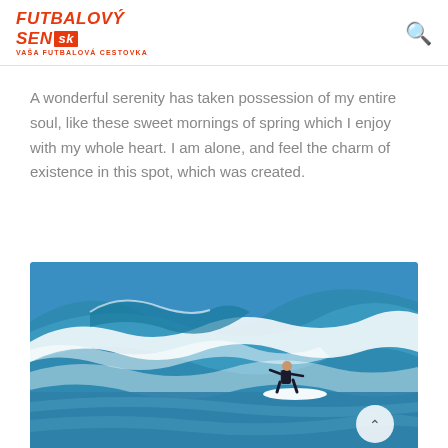FUTBALOVÝ SEN.SK VAŠA FUTBALOVÁ CESTOVKA
A wonderful serenity has taken possession of my entire soul, like these sweet mornings of spring which I enjoy with my whole heart. I am alone, and feel the charm of existence in this spot, which was created.
[Figure (photo): A surfer riding a large ocean wave, wearing a black wetsuit and riding a white surfboard. The wave is a vivid turquoise-blue color with white foam. There is a circular scroll-to-top button in the lower right area of the image.]